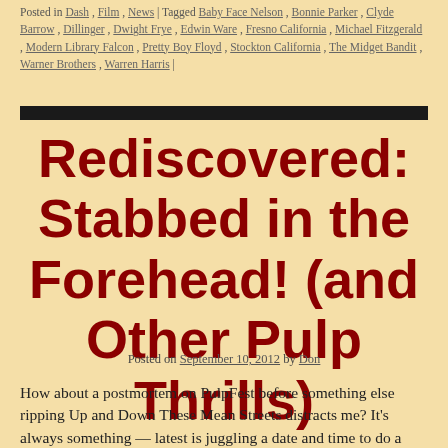Posted in Dash, Film, News | Tagged Baby Face Nelson, Bonnie Parker, Clyde Barrow, Dillinger, Dwight Frye, Edwin Ware, Fresno California, Michael Fitzgerald, Modern Library Falcon, Pretty Boy Floyd, Stockton California, The Midget Bandit, Warner Brothers, Warren Harris |
Rediscovered: Stabbed in the Forehead! (and Other Pulp Thrills)
Posted on September 10, 2012 by Don
How about a postmortem on PulpFest before something else ripping Up and Down These Mean Streets distracts me? It’s always something — latest is juggling a date and time to do a walk for a Private Eye convention in October.